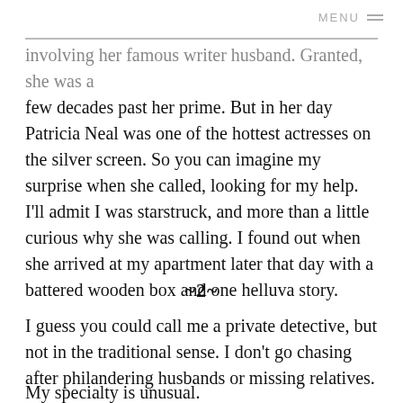MENU ≡
involving her famous writer husband. Granted, she was a few decades past her prime. But in her day Patricia Neal was one of the hottest actresses on the silver screen. So you can imagine my surprise when she called, looking for my help. I'll admit I was starstruck, and more than a little curious why she was calling. I found out when she arrived at my apartment later that day with a battered wooden box and one helluva story.
~2~
I guess you could call me a private detective, but not in the traditional sense. I don't go chasing after philandering husbands or missing relatives.
My specialty is unusual.